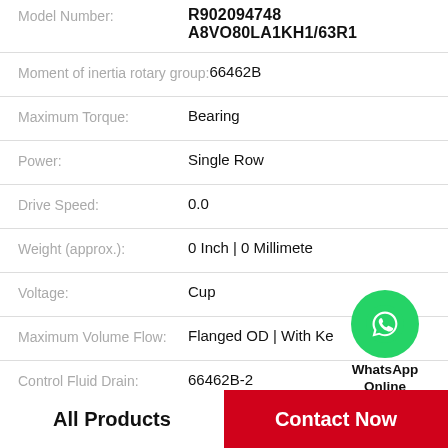| Field | Value |
| --- | --- |
| Model Number: | R902094748 A8VO80LA1KH1/63R1 |
| Moment of inertia rotary group: | 66462B |
| Maximum Torque: | Bearing |
| Power: | Single Row |
| Drive Speed: | 0.0 |
| Weight (approx.): | 0 Inch | 0 Millimete |
| Voltage: | Cup |
| Maximum Volume Flow: | Flanged OD | With Ke |
| Control Fluid Drain: | 66462B-2 |
[Figure (logo): WhatsApp Online green circle icon with phone handset, labeled WhatsApp Online]
Product Details
All Products
Contact Now